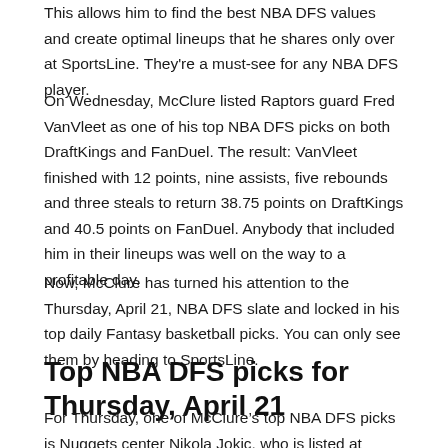This allows him to find the best NBA DFS values and create optimal lineups that he shares only over at SportsLine. They're a must-see for any NBA DFS player.
On Wednesday, McClure listed Raptors guard Fred VanVleet as one of his top NBA DFS picks on both DraftKings and FanDuel. The result: VanVleet finished with 12 points, nine assists, five rebounds and three steals to return 38.75 points on DraftKings and 40.5 points on FanDuel. Anybody that included him in their lineups was well on the way to a profitable day.
Now, McClure has turned his attention to the Thursday, April 21, NBA DFS slate and locked in his top daily Fantasy basketball picks. You can only see them by heading to SportsLine.
Top NBA DFS picks for Thursday, April 21
For Thursday, one of McClure’s top NBA DFS picks is Nuggets center Nikola Jokic, who is listed at $11,200 on DraftKings and